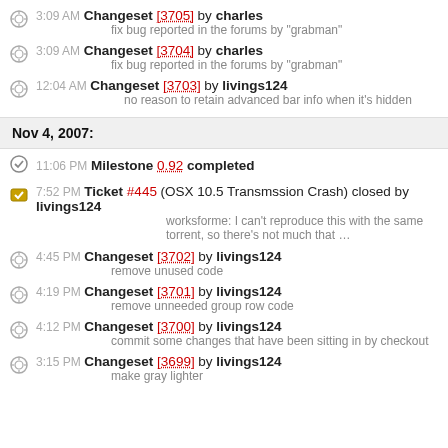3:09 AM Changeset [3705] by charles — fix bug reported in the forums by "grabman"
3:09 AM Changeset [3704] by charles — fix bug reported in the forums by "grabman"
12:04 AM Changeset [3703] by livings124 — no reason to retain advanced bar info when it's hidden
Nov 4, 2007:
11:06 PM Milestone 0.92 completed
7:52 PM Ticket #445 (OSX 10.5 Transmssion Crash) closed by livings124 — worksforme: I can't reproduce this with the same torrent, so there's not much that ...
4:45 PM Changeset [3702] by livings124 — remove unused code
4:19 PM Changeset [3701] by livings124 — remove unneeded group row code
4:12 PM Changeset [3700] by livings124 — commit some changes that have been sitting in by checkout
3:15 PM Changeset [3699] by livings124 — make gray lighter